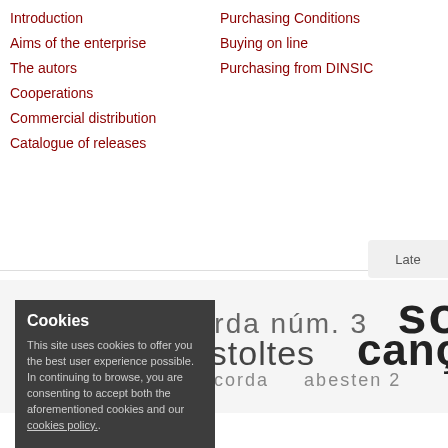Introduction
Aims of the enterprise
The autors
Cooperations
Commercial distribution
Catalogue of releases
Purchasing Conditions
Buying on line
Purchasing from DINSIC
Late
[Figure (infographic): Tag cloud with Catalan music-related words in varying sizes: artet de corda núm. 3, solilo, t Carnestoltes, cançoner, er a quartet de corda, abesten 2, bodem expressar, acor, s, cançó, abesten 4, nadal, o, artitura, abesten, musica 2, Da, onatina de Nadal, son]
Cookies
This site uses cookies to offer you the best user experience possible. In continuing to browse, you are consenting to accept both the aforementioned cookies and our cookies policy..